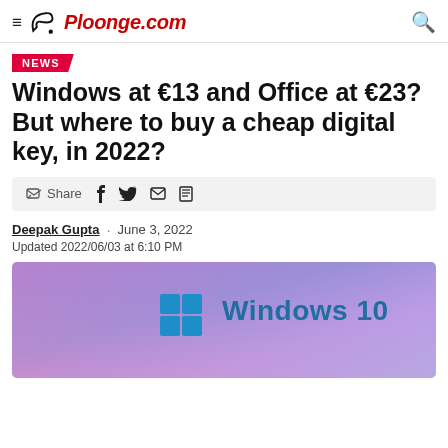Ploonge.com
NEWS
Windows at €13 and Office at €23? But where to buy a cheap digital key, in 2022?
Share
Deepak Gupta · June 3, 2022
Updated 2022/06/03 at 6:10 PM
[Figure (illustration): Windows 10 hero image with purple-pink gradient background and Windows logo with text 'Windows 10']